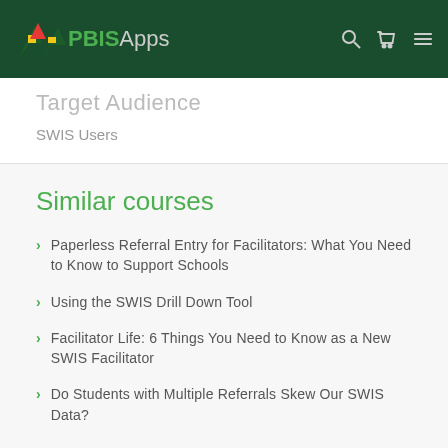PBISApps
Target Audience
SWIS Users
Similar courses
Paperless Referral Entry for Facilitators: What You Need to Know to Support Schools
Using the SWIS Drill Down Tool
Facilitator Life: 6 Things You Need to Know as a New SWIS Facilitator
Do Students with Multiple Referrals Skew Our SWIS Data?